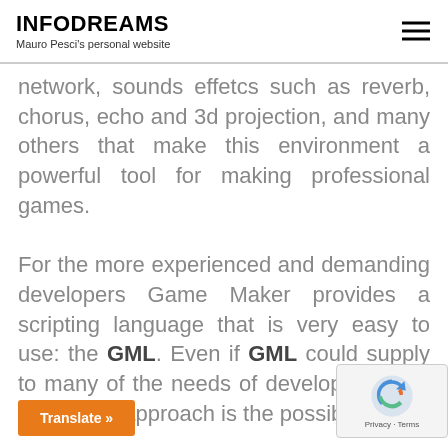INFODREAMS
Mauro Pesci's personal website
network, sounds effetcs such as reverb, chorus, echo and 3d projection, and many others that make this environment a powerful tool for making professional games.

For the more experienced and demanding developers Game Maker provides a scripting language that is very easy to use: the GML. Even if GML could supply to many of the needs of development, an innovative approach is the possibility to